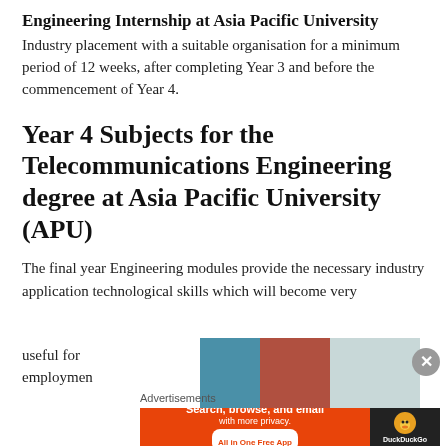Engineering Internship at Asia Pacific University
Industry placement with a suitable organisation for a minimum period of 12 weeks, after completing Year 3 and before the commencement of Year 4.
Year 4 Subjects for the Telecommunications Engineering degree at Asia Pacific University (APU)
The final year Engineering modules provide the necessary industry application technological skills which will become very
useful for employmen
[Figure (photo): Partial photo strip showing interior spaces with blue, red/brown, and glass-walled areas]
Advertisements
[Figure (infographic): DuckDuckGo advertisement banner: Search, browse, and email with more privacy. All in One Free App, with DuckDuckGo logo on dark background]